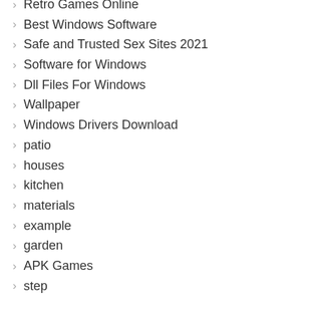Retro Games Online
Best Windows Software
Safe and Trusted Sex Sites 2021
Software for Windows
Dll Files For Windows
Wallpaper
Windows Drivers Download
patio
houses
kitchen
materials
example
garden
APK Games
step